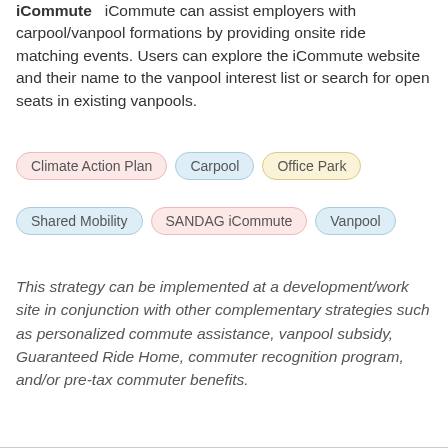iCommute — iCommute can assist employers with carpool/vanpool formations by providing onsite ride matching events. Users can explore the iCommute website and their name to the vanpool interest list or search for open seats in existing vanpools.
Tags: Climate Action Plan, Carpool, Office Park, Shared Mobility, SANDAG iCommute, Vanpool
This strategy can be implemented at a development/work site in conjunction with other complementary strategies such as personalized commute assistance, vanpool subsidy, Guaranteed Ride Home, commuter recognition program, and/or pre-tax commuter benefits.